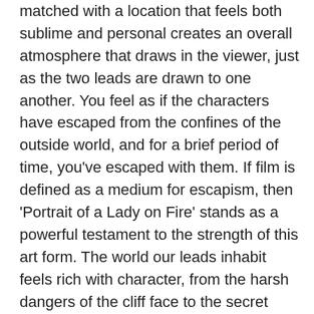matched with a location that feels both sublime and personal creates an overall atmosphere that draws in the viewer, just as the two leads are drawn to one another. You feel as if the characters have escaped from the confines of the outside world, and for a brief period of time, you've escaped with them. If film is defined as a medium for escapism, then 'Portrait of a Lady on Fire' stands as a powerful testament to the strength of this art form. The world our leads inhabit feels rich with character, from the harsh dangers of the cliff face to the secret caverns that lie beneath, the success of the location is that it acts as another whole element of the narrative, working as a reflection of each scene's emotions. This idea is only further emphasised by the stunning portraits that come from the sweeping hands of Marianne, despite their supposed